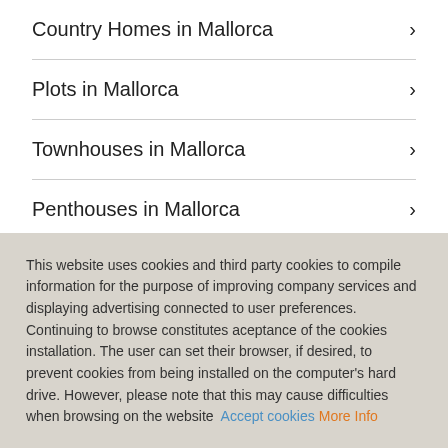Country Homes in Mallorca
Plots in Mallorca
Townhouses in Mallorca
Penthouses in Mallorca
This website uses cookies and third party cookies to compile information for the purpose of improving company services and displaying advertising connected to user preferences. Continuing to browse constitutes aceptance of the cookies installation. The user can set their browser, if desired, to prevent cookies from being installed on the computer's hard drive. However, please note that this may cause difficulties when browsing on the website  Accept cookies  More Info